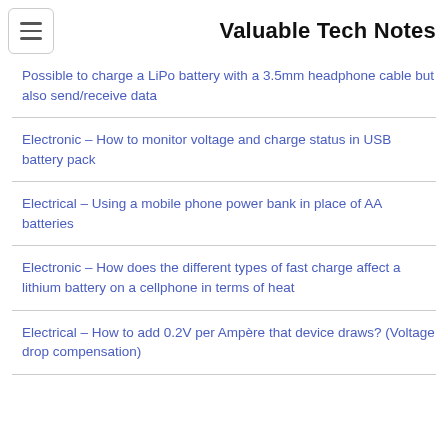Valuable Tech Notes
Possible to charge a LiPo battery with a 3.5mm headphone cable but also send/receive data
Electronic – How to monitor voltage and charge status in USB battery pack
Electrical – Using a mobile phone power bank in place of AA batteries
Electronic – How does the different types of fast charge affect a lithium battery on a cellphone in terms of heat
Electrical – How to add 0.2V per Ampère that device draws? (Voltage drop compensation)